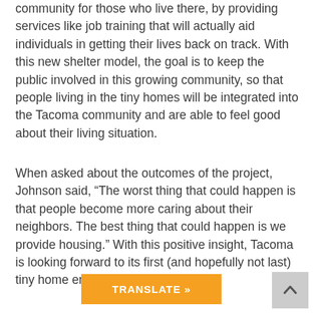community for those who live there, by providing services like job training that will actually aid individuals in getting their lives back on track. With this new shelter model, the goal is to keep the public involved in this growing community, so that people living in the tiny homes will be integrated into the Tacoma community and are able to feel good about their living situation.
When asked about the outcomes of the project, Johnson said, “The worst thing that could happen is that people become more caring about their neighbors. The best thing that could happen is we provide housing.” With this positive insight, Tacoma is looking forward to its first (and hopefully not last) tiny home encampment.
TRANSLATE »